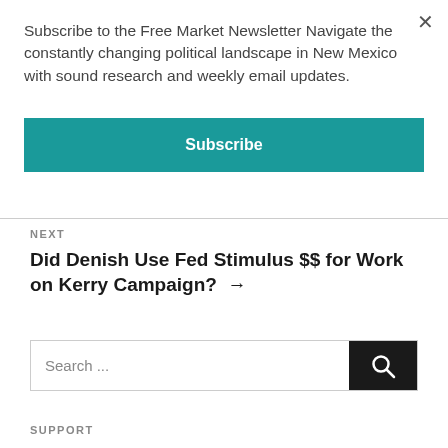×
Subscribe to the Free Market Newsletter Navigate the constantly changing political landscape in New Mexico with sound research and weekly email updates.
Subscribe
NEXT
Did Denish Use Fed Stimulus $$ for Work on Kerry Campaign? →
Search ...
SUPPORT